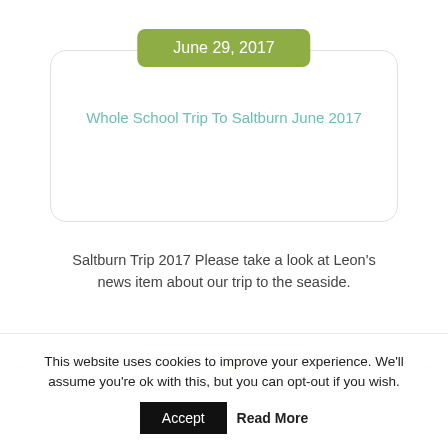June 29, 2017
Whole School Trip To Saltburn June 2017
Saltburn Trip 2017 Please take a look at Leon's news item about our trip to the seaside.
READ MORE
This website uses cookies to improve your experience. We'll assume you're ok with this, but you can opt-out if you wish.
Accept  Read More